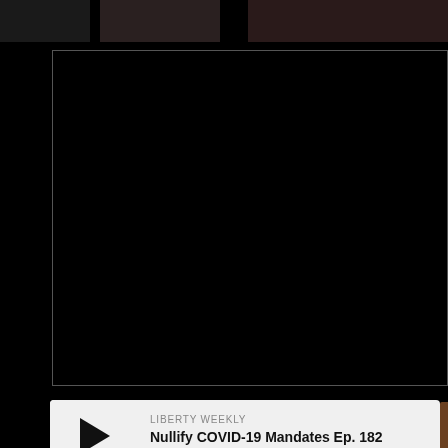[Figure (screenshot): Top strip with dark thumbnail images on black background]
[Figure (screenshot): Large black video player area with thin gray border]
LIBERTY WEEKLY
Nullify COVID-19 Mandates Ep. 182
[Figure (screenshot): Podcast card with play button, show name LIBERTY WEEKLY, episode title Nullify COVID-19 Mandates Ep. 182, and a progress bar]